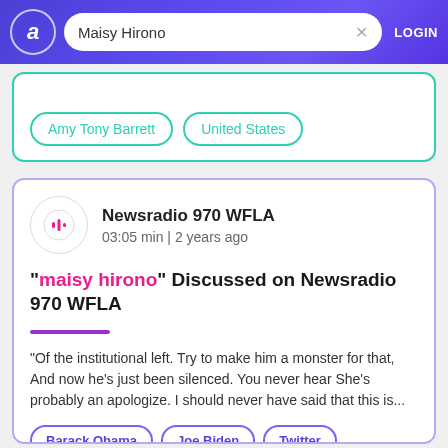Maisy Hirono — Search bar with LOGIN
Amy Tony Barrett | United States
Newsradio 970 WFLA
03:05 min | 2 years ago
"maisy hirono" Discussed on Newsradio 970 WFLA
"Of the institutional left. Try to make him a monster for that, And now he's just been silenced. You never hear She's probably an apologize. I should never have said that this is...
Barack Obama | Joe Biden | Twitter